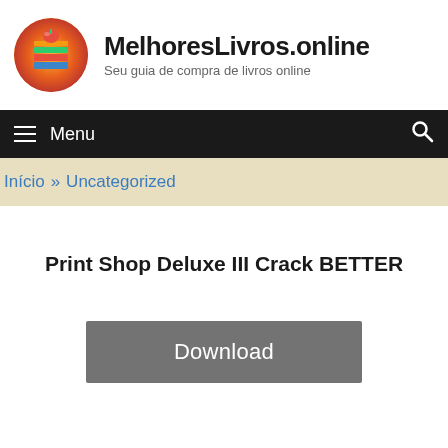[Figure (logo): MelhoresLivros.online site logo: circular icon with a stack of colorful books and a red apple on top, on an orange/gradient background]
MelhoresLivros.online
Seu guia de compra de livros online
≡ Menu
Início » Uncategorized
Print Shop Deluxe III Crack BETTER
Download